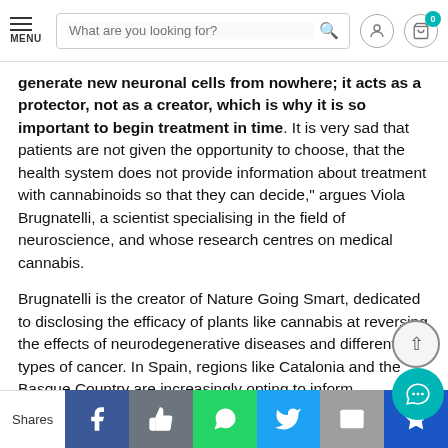MENU | What are you looking for? [search] [user] [cart 0]
generate new neuronal cells from nowhere; it acts as a protector, not as a creator, which is why it is so important to begin treatment in time. It is very sad that patients are not given the opportunity to choose, that the health system does not provide information about treatment with cannabinoids so that they can decide," argues Viola Brugnatelli, a scientist specialising in the field of neuroscience, and whose research centres on medical cannabis.
Brugnatelli is the creator of Nature Going Smart, dedicated to disclosing the efficacy of plants like cannabis at reversing the effects of neurodegenerative diseases and different types of cancer. In Spain, regions like Catalonia and the Basque Country are increasingly opting to inform
Shares | Facebook | Like | WhatsApp | Twitter | Email | Crown